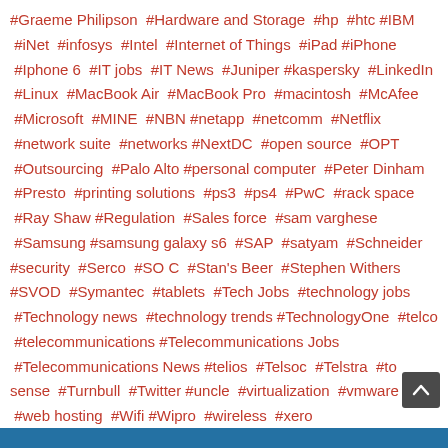#Graeme Philipson #Hardware and Storage #hp #htc #IBM #iNet #infosys #Intel #Internet of Things #iPad #iPhone #Iphone 6 #IT jobs #IT News #Juniper #kaspersky #LinkedIn #Linux #MacBook Air #MacBook Pro #macintosh #McAfee #Microsoft #MINE #NBN #netapp #netcomm #Netflix #network suite #networks #NextDC #open source #OPT #Outsourcing #Palo Alto #personal computer #Peter Dinham #Presto #printing solutions #ps3 #ps4 #PwC #rack space #Ray Shaw #Regulation #Sales force #sam varghese #Samsung #samsung galaxy s6 #SAP #satyam #Schneider #security #Serco #SO C #Stan's Beer #Stephen Withers #SVOD #Symantec #tablets #Tech Jobs #technology jobs #Technology news #technology trends #TechnologyOne #telco #telecommunications #Telecommunications Jobs #Telecommunications News #telios #Telsoc #Telstra #to sense #Turnbull #Twitter #uncle #virtualization #vmware #web hosting #Wifi #Wipro #wireless #xero